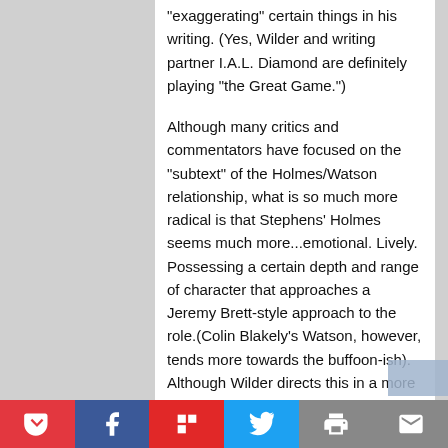"exaggerating" certain things in his writing. (Yes, Wilder and writing partner I.A.L. Diamond are definitely playing "the Great Game.")

Although many critics and commentators have focused on the "subtext" of the Holmes/Watson relationship, what is so much more radical is that Stephens' Holmes seems much more...emotional. Lively. Possessing a certain depth and range of character that approaches a Jeremy Brett-style approach to the role.(Colin Blakely's Watson, however, tends more towards the buffoon-ish). Although Wilder directs this in a more straightforward style than his other work, it only serves to highlight the emotional underpinnings of the film - Private Life not only contains gorgeous footage and
Pocket | Facebook | Flipboard | Twitter | Print | Email